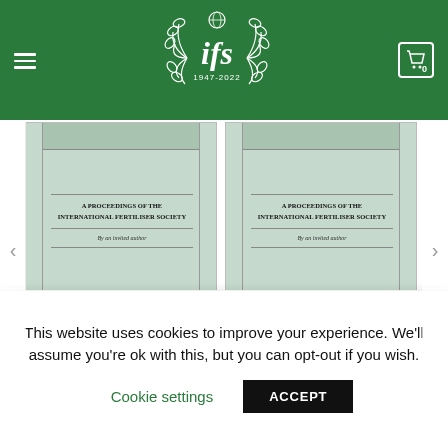IFS - International Fertiliser Society
[Figure (illustration): Book cover for Proceedings 306: Potential Changes in Soil Fertility from Arable Farming, Including Organic Systems]
PROCEEDINGS: 306
Potential Changes in Soil Fertility from Arable Farming, Including Organic Systems
[Figure (illustration): Book cover for Proceedings 253: Fertilisers and Quality of Wheat and Barley]
PROCEEDINGS: 253
Fertilisers and Quality of Wheat and Barley
This website uses cookies to improve your experience. We'll assume you're ok with this, but you can opt-out if you wish.
Cookie settings
ACCEPT